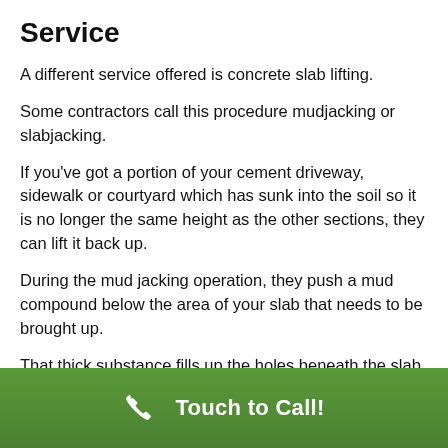Service
A different service offered is concrete slab lifting.
Some contractors call this procedure mudjacking or slabjacking.
If you've got a portion of your cement driveway, sidewalk or courtyard which has sunk into the soil so it is no longer the same height as the other sections, they can lift it back up.
During the mud jacking operation, they push a mud compound below the area of your slab that needs to be brought up.
That thick substance fills up the holes beneath the slab, stiffens and then drives the concrete slab up. Pretty cool.
As soon as your cement slabs are all the same level,
Touch to Call!